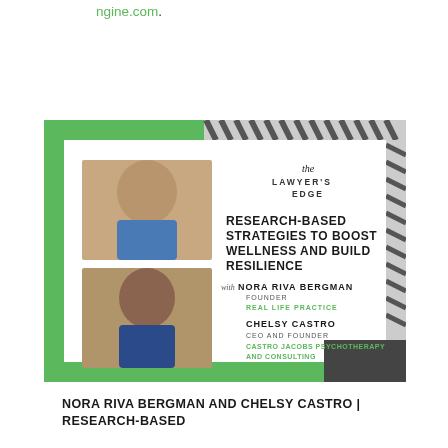ngine.com.
[Figure (other): Podcast episode card for The Lawyer's Edge featuring headshots of two women. Title reads: RESEARCH-BASED STRATEGIES TO BOOST WELLNESS AND BUILD RESILIENCE. With Nora Riva Bergman, Founder, Real Life Practice. Chelsy Castro, CEO and Founder, Castro Jacobs Psychotherapy and Consulting.]
NORA RIVA BERGMAN AND CHELSY CASTRO | RESEARCH-BASED